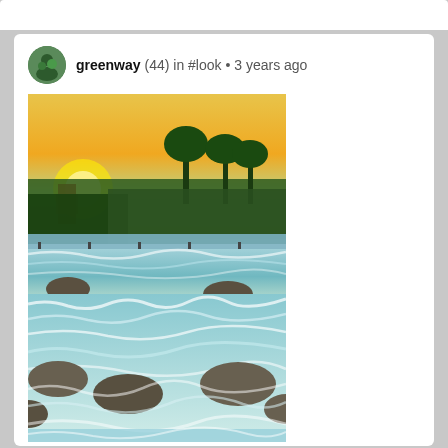greenway (44) in #look • 3 years ago
[Figure (photo): Outdoor waterfall scene at sunset with turbulent water rushing over rocks, palm trees and green vegetation silhouetted against an orange-yellow sky in the background.]